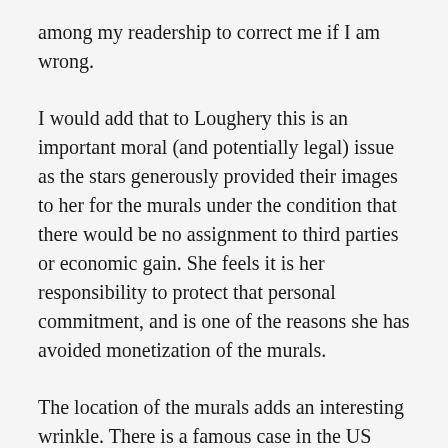among my readership to correct me if I am wrong.
I would add that to Loughery this is an important moral (and potentially legal) issue as the stars generously provided their images to her for the murals under the condition that there would be no assignment to third parties or economic gain. She feels it is her responsibility to protect that personal commitment, and is one of the reasons she has avoided monetization of the murals.
The location of the murals adds an interesting wrinkle. There is a famous case in the US where the owner of several derelict buildings in New